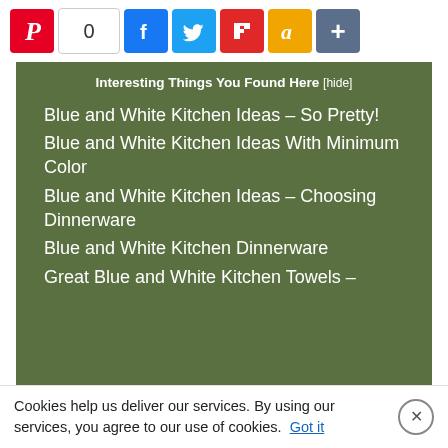[Figure (other): Social sharing bar with Pinterest button, share count 0, Facebook, Twitter, Flipboard, Amazon, and more (+) buttons]
Interesting Things You Found Here [hide]
Blue and White Kitchen Ideas – So Pretty!
Blue and White Kitchen Ideas With Minimum Color
Blue and White Kitchen Ideas – Choosing Dinnerware
Blue and White Kitchen Dinnerware
Great Blue and White Kitchen Towels –
Cookies help us deliver our services. By using our services, you agree to our use of cookies. Got it